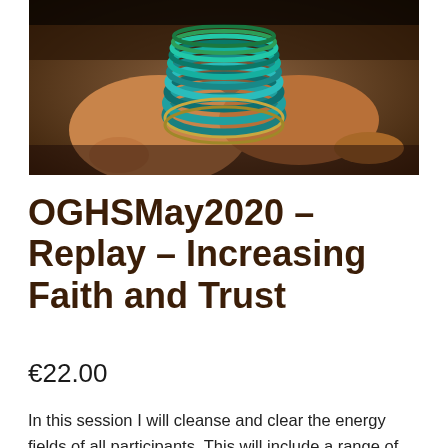[Figure (photo): Close-up photo of hands with colourful turquoise and green bangles/bracelets stacked on wrist, warm brown-toned background]
OGHSMay2020 – Replay – Increasing Faith and Trust
€22.00
In this session I will cleanse and clear the energy fields of all participants. This will include a range of full for cleanse and association...